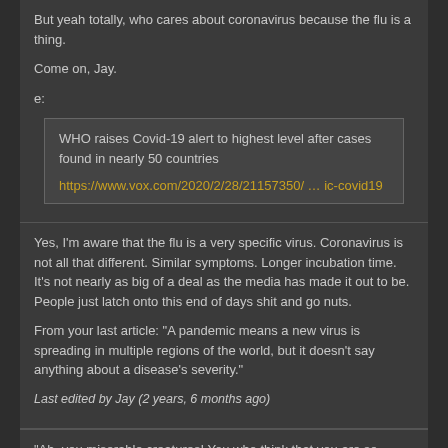But yeah totally, who cares about coronavirus because the flu is a thing.
Come on, Jay.
e:
WHO raises Covid-19 alert to highest level after cases found in nearly 50 countries
https://www.vox.com/2020/2/28/21157350/ … ic-covid19
Yes, I'm aware that the flu is a very specific virus. Coronavirus is not all that different. Similar symptoms. Longer incubation time. It's not nearly as big of a deal as the media has made it out to be. People just latch onto this end of days shit and go nuts.
From your last article: "A pandemic means a new virus is spreading in multiple regions of the world, but it doesn't say anything about a disease's severity."
Last edited by Jay (2 years, 6 months ago)
"Ah, you miserable creatures! You who think that you are so great! You who judge humanity to be so small! You who wish to reform everything! Why don't you reform yourselves? That task would be sufficient enough."
-Frederick Bastiat
2 years, 6 months ago
#13
unnamednewbie13
Moderator